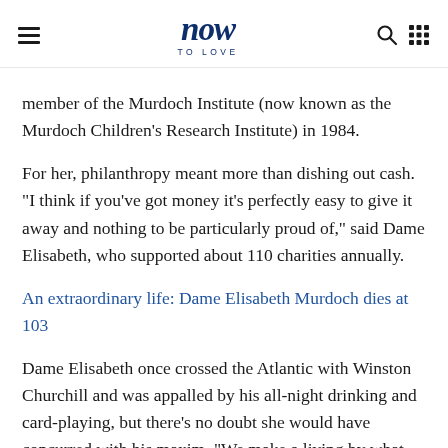now to love
member of the Murdoch Institute (now known as the Murdoch Children's Research Institute) in 1984.
For her, philanthropy meant more than dishing out cash. "I think if you've got money it's perfectly easy to give it away and nothing to be particularly proud of," said Dame Elisabeth, who supported about 110 charities annually.
An extraordinary life: Dame Elisabeth Murdoch dies at 103
Dame Elisabeth once crossed the Atlantic with Winston Churchill and was appalled by his all-night drinking and card-playing, but there's no doubt she would have concurred with his maxim, "We make a living by what